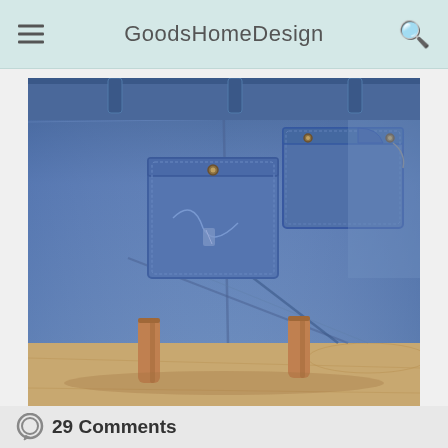GoodsHomeDesign
[Figure (photo): A stool or ottoman upholstered with patchwork denim jeans fabric, showing back pockets and seams, on wooden legs, sitting on a light wood floor.]
29 Comments